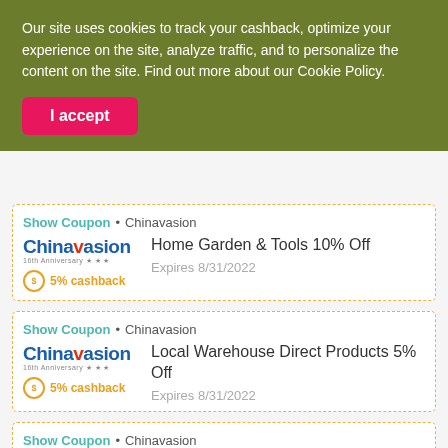Our site uses cookies to track your cashback, optimize your experience on the site, analyze traffic, and to personalize the content on the site. Find out more about our Cookie Policy.
I accept
Show Coupon • Chinavasion
[Figure (logo): Chinavasion logo with 16th anniversary text]
Home Garden & Tools 10% Off
Expires 8/31/2022
5% cashback
Show Coupon • Chinavasion
[Figure (logo): Chinavasion logo with 16th anniversary text]
Local Warehouse Direct Products 5% Off
Expires 8/31/2022
5% cashback
Show Coupon • Chinavasion
[Figure (logo): Chinavasion logo with 16th anniversary text]
Motor & Car Electronics 7% Off
Expires 8/31/2022
5% cashback